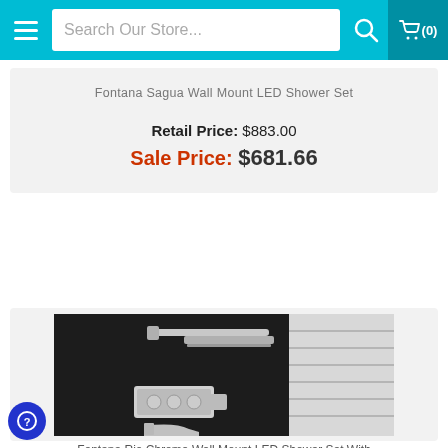Search Our Store... (0)
Fontana Sagua Wall Mount LED Shower Set
Retail Price: $883.00
Sale Price: $681.66
[Figure (photo): Chrome wall-mount shower system with overhead rain shower head on arm, wall-mounted thermostatic valve controls, and tub spout. Product shown against black background with white panel door visible on right.]
Fontana Rio Chrome Wall Mount LED Shower Set With